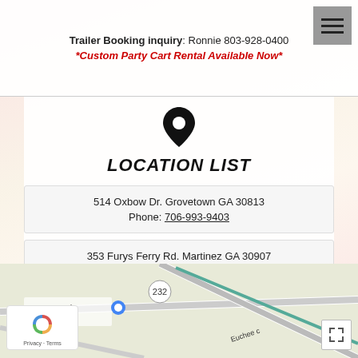Trailer Booking inquiry: Ronnie 803-928-0400
*Custom Party Cart Rental Available Now*
[Figure (illustration): Black map location pin icon]
LOCATION LIST
514 Oxbow Dr. Grovetown GA 30813
Phone: 706-993-9403
353 Furys Ferry Rd. Martinez GA 30907
Phone: 706-305-9195
[Figure (map): Google Maps embed showing local area with road 232 and Euchee street label, Dollar General store marker visible]